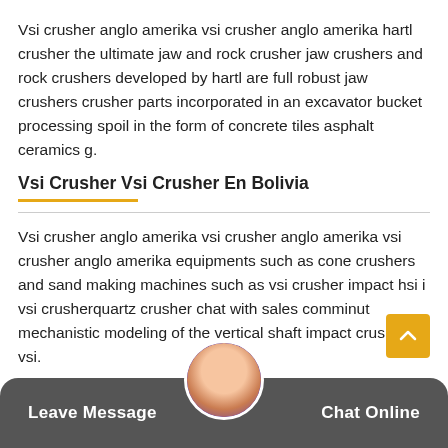Vsi crusher anglo amerika vsi crusher anglo amerika hartl crusher the ultimate jaw and rock crusher jaw crushers and rock crushers developed by hartl are full robust jaw crushers crusher parts incorporated in an excavator bucket processing spoil in the form of concrete tiles asphalt ceramics g.
Vsi Crusher Vsi Crusher En Bolivia
Vsi crusher anglo amerika vsi crusher anglo amerika vsi crusher anglo amerika equipments such as cone crushers and sand making machines such as vsi crusher impact hsi i vsi crusherquartz crusher chat with sales comminut mechanistic modeling of the vertical shaft impact crusher vsi.
Vsi Crusher Amerika
Vsi crusher anglo amerika vsi crusher anglo amerika vsi